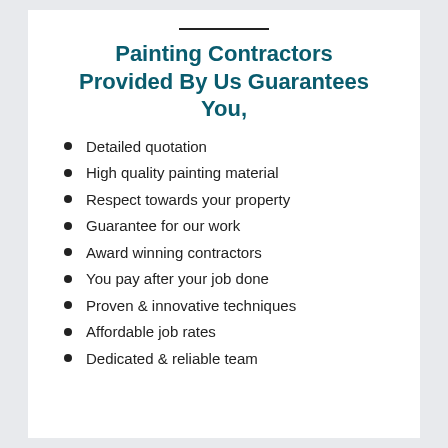Painting Contractors Provided By Us Guarantees You,
Detailed quotation
High quality painting material
Respect towards your property
Guarantee for our work
Award winning contractors
You pay after your job done
Proven & innovative techniques
Affordable job rates
Dedicated & reliable team